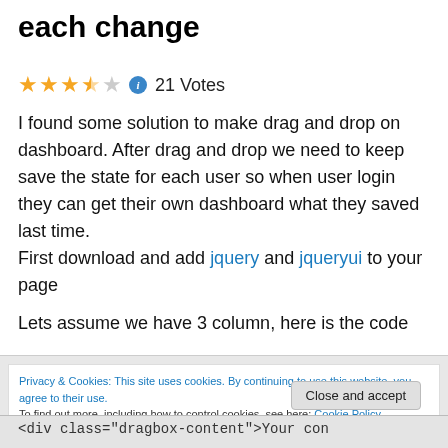each change
⭐⭐⭐½☆ ℹ 21 Votes
I found some solution to make drag and drop on dashboard. After drag and drop we need to keep save the state for each user so when user login they can get their own dashboard what they saved last time. First download and add jquery and jqueryui to your page
Lets assume we have 3 column, here is the code
Privacy & Cookies: This site uses cookies. By continuing to use this website, you agree to their use.
To find out more, including how to control cookies, see here: Cookie Policy
<div class="dragbox-content">Your con